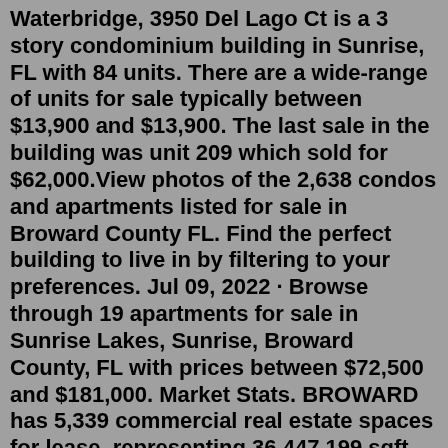Waterbridge, 3950 Del Lago Ct is a 3 story condominium building in Sunrise, FL with 84 units. There are a wide-range of units for sale typically between $13,900 and $13,900. The last sale in the building was unit 209 which sold for $62,000.View photos of the 2,638 condos and apartments listed for sale in Broward County FL. Find the perfect building to live in by filtering to your preferences. Jul 09, 2022 · Browse through 19 apartments for sale in Sunrise Lakes, Sunrise, Broward County, FL with prices between $72,500 and $181,000. Market Stats. BROWARD has 5,339 commercial real estate spaces for lease, representing 36,447,199 sqft space. 1863 buildings are available for sale. In the past 30 days, BROWARD has had 555 spaces leased and 9 new spaces come on market.In 55 Community - Fort Lauderdale FL Real Estate 8 Agent listings 3 Other listings Sort by: 3300 NE 36th St APT 1506, Fort Lauderdale, FL 33308 MOVE ME REALTY $290,000 1 bd 1 ba 800 sqft - Condo for sale 5 days on Zillow 3300 NE 36th St APT 1007, Fort Lauderdale, FL